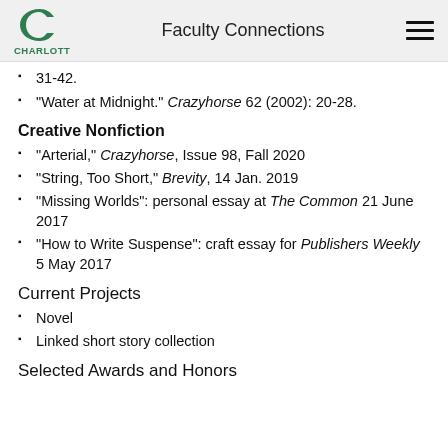Faculty Connections
“Water at Midnight.” Crazyhorse 62 (2002): 20-28.
Creative Nonfiction
“Arterial,” Crazyhorse, Issue 98, Fall 2020
“String, Too Short,” Brevity, 14 Jan. 2019
“Missing Worlds”: personal essay at The Common 21 June 2017
“How to Write Suspense”: craft essay for Publishers Weekly 5 May 2017
Current Projects
Novel
Linked short story collection
Selected Awards and Honors